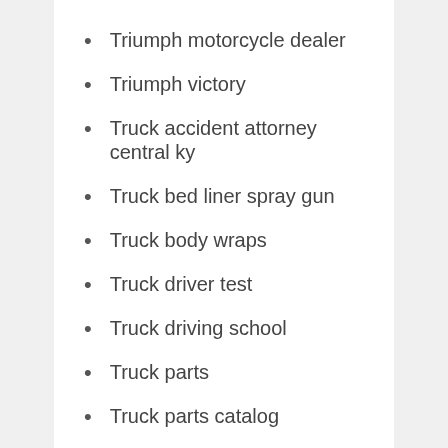Triumph motorcycle dealer
Triumph victory
Truck accident attorney central ky
Truck bed liner spray gun
Truck body wraps
Truck driver test
Truck driving school
Truck parts
Truck parts catalog
Truck stake pocket tie downs
Truck wraps
Truck wraps okc